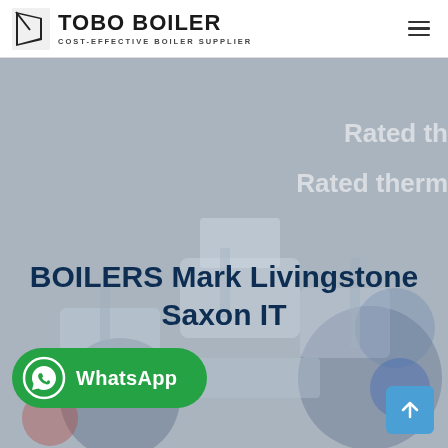[Figure (logo): Tobo Boiler logo with trapezoid icon and text TOBO BOILER, COST-EFFECTIVE BOILER SUPPLIER]
[Figure (photo): Hero section with gray-toned industrial boiler machinery background image, faded text reading 'Rated th...' and 'Rated therm...' on the right side]
BOILERS Mark Livingstone Saxon IT
[Figure (infographic): WhatsApp button (green rounded rectangle with WhatsApp phone icon and text WhatsApp)]
[Figure (other): Scroll-to-top button (blue square with upward arrow icon)]